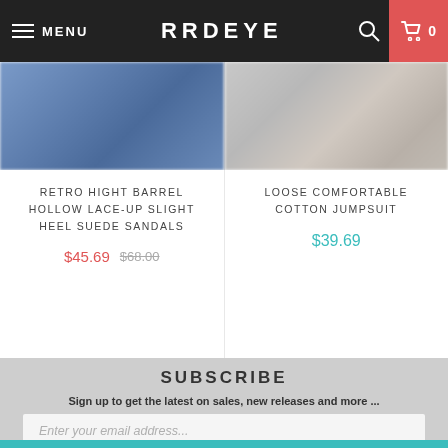MENU  RRDEYE  0
RETRO HIGHT BARREL HOLLOW LACE-UP SLIGHT HEEL SUEDE SANDALS
$45.69  $68.00
LOOSE COMFORTABLE COTTON JUMPSUIT
$39.69
SUBSCRIBE
Sign up to get the latest on sales, new releases and more ...
Enter your email address...